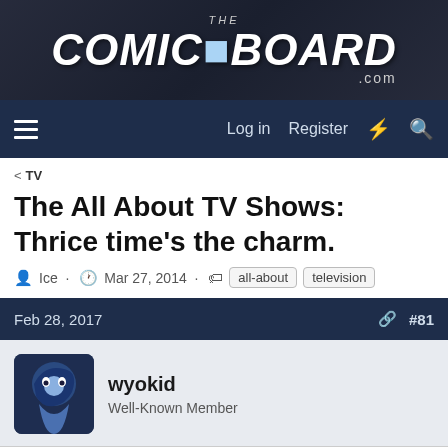[Figure (logo): The Comic Board .com website logo on dark background with comic art texture]
Log in  Register
< TV
The All About TV Shows: Thrice time's the charm.
Ice · Mar 27, 2014 · all-about  television
Feb 28, 2017  #81
wyokid
Well-Known Member
Captain Canuck said: ↑
Weird.